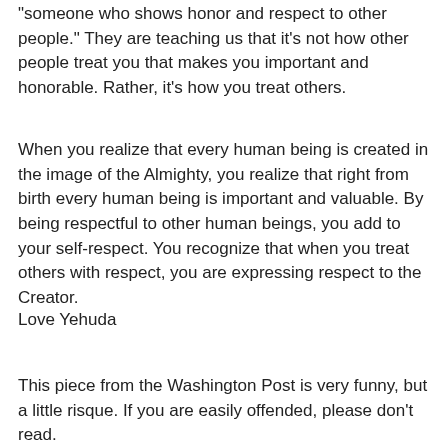"someone who shows honor and respect to other people." They are teaching us that it's not how other people treat you that makes you important and honorable. Rather, it's how you treat others.
When you realize that every human being is created in the image of the Almighty, you realize that right from birth every human being is important and valuable. By being respectful to other human beings, you add to your self-respect. You recognize that when you treat others with respect, you are expressing respect to the Creator.
Love Yehuda
This piece from the Washington Post is very funny, but a little risque. If you are easily offended, please don't read.